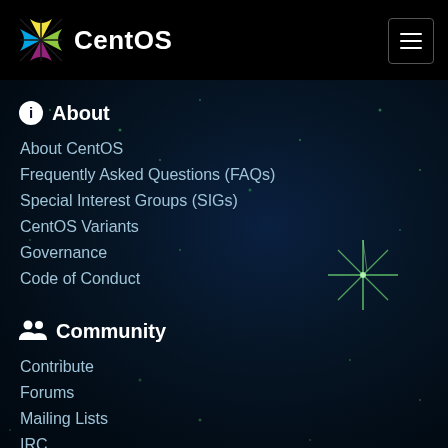CentOS
About
About CentOS
Frequently Asked Questions (FAQs)
Special Interest Groups (SIGs)
CentOS Variants
Governance
Code of Conduct
Community
Contribute
Forums
Mailing Lists
IRC
Calendar & IRC Meeting List
Planet